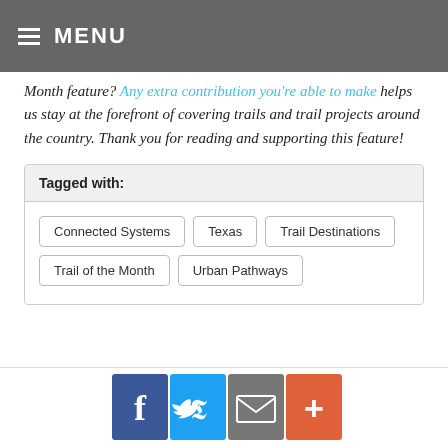MENU
Month feature? Any extra contribution you're able to make helps us stay at the forefront of covering trails and trail projects around the country. Thank you for reading and supporting this feature!
Tagged with: Connected Systems, Texas, Trail Destinations, Trail of the Month, Urban Pathways
[Figure (other): Social share buttons: Facebook, Twitter, Email, Plus]